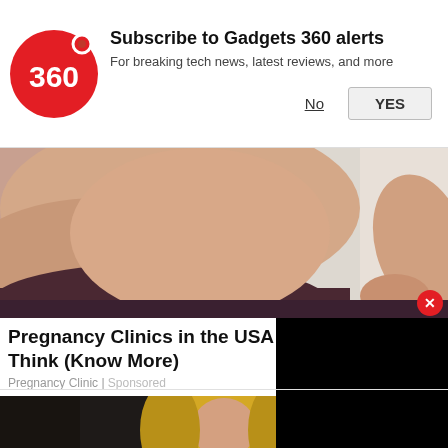Subscribe to Gadgets 360 alerts
For breaking tech news, latest reviews, and more
[Figure (photo): Close-up of a pregnant woman's belly in dark underwear against a light background]
Pregnancy Clinics in the USA May B Think (Know More)
Pregnancy Clinic | Sponsored
[Figure (photo): Blonde woman on dark background, partially visible, bottom portion of page. Black rectangle overlay on right side.]